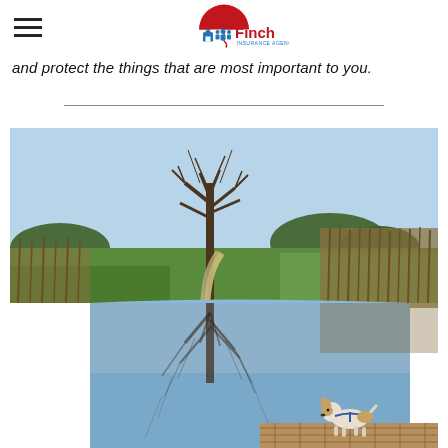Finch Insurance Agency (logo header)
and protect the things that are most important to you.
[Figure (photo): Outdoor park scene with a calm reflective pond. A tree stands near the center with its reflection visible in the still water. A winding path leads into the background with green grass and reed beds on either side. A small white and tan dog stands on a wooden dock in the foreground.]